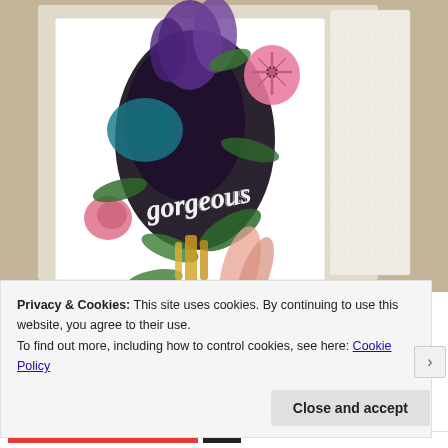[Figure (photo): A decorative handmade greeting card with colorful floral arrangement including purple, teal, pink flowers and a twine bow, with script text 'Gorgeous' on the card, photographed at an angle on a beige background.]
Privacy & Cookies: This site uses cookies. By continuing to use this website, you agree to their use.
To find out more, including how to control cookies, see here: Cookie Policy
Close and accept